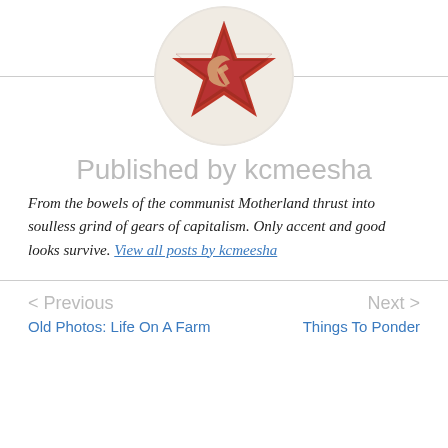[Figure (photo): Circular avatar image showing a Soviet-style red star badge with hammer and sickle emblem on a cream/white background]
Published by kcmeesha
From the bowels of the communist Motherland thrust into soulless grind of gears of capitalism. Only accent and good looks survive. View all posts by kcmeesha
< Previous
Next >
Old Photos: Life On A Farm
Things To Ponder